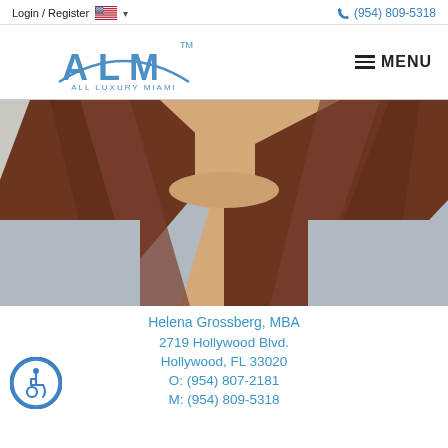Login / Register   (954) 809-5318
[Figure (logo): ALM All Luxury Miami logo with arc graphic]
MENU
[Figure (photo): Woman with auburn hair wearing a grey sleeveless top, photo cropped at shoulders/chest level]
Helena Grossberg, MBA
2719 Hollywood Blvd.
Hollywood, FL 33020
O: (954) 807-2181
M: (954) 809-5318